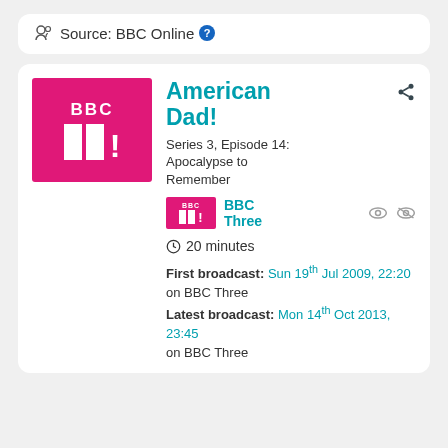Source: BBC Online
American Dad!
Series 3, Episode 14: Apocalypse to Remember
BBC Three
20 minutes
First broadcast: Sun 19th Jul 2009, 22:20 on BBC Three
Latest broadcast: Mon 14th Oct 2013, 23:45 on BBC Three